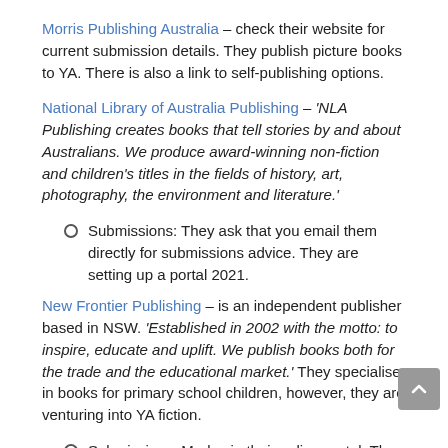Morris Publishing Australia – check their website for current submission details. They publish picture books to YA. There is also a link to self-publishing options.
National Library of Australia Publishing – 'NLA Publishing creates books that tell stories by and about Australians. We produce award-winning non-fiction and children's titles in the fields of history, art, photography, the environment and literature.'
Submissions: They ask that you email them directly for submissions advice. They are setting up a portal 2021.
New Frontier Publishing – is an independent publisher based in NSW. 'Established in 2002 with the motto: to inspire, educate and uplift. We publish books both for the trade and the educational market.' They specialise in books for primary school children, however, they are venturing into YA fiction.
Submissions: Made via their online portal. They first suggest you buy their $60 submission pack, which includes their submissions guidelines.
New Holland Publishers – deal 'primarily' with non-fiction books.